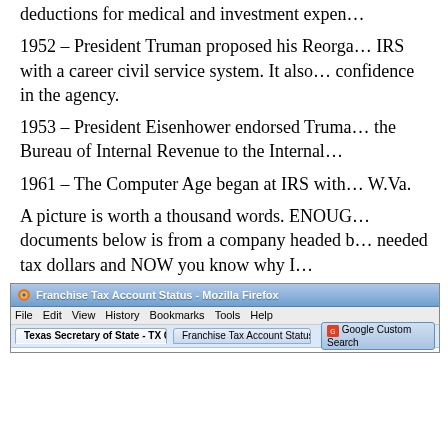deductions for medical and investment expen…
1952 – President Truman proposed his Reorga… IRS with a career civil service system. It also… confidence in the agency.
1953 – President Eisenhower endorsed Truma… the Bureau of Internal Revenue to the Internal…
1961 – The Computer Age began at IRS with… W.Va.
A picture is worth a thousand words. ENOUG… documents below is from a company headed b… needed tax dollars and NOW you know why I…
[Figure (screenshot): Screenshot of Mozilla Firefox browser showing Franchise Tax Account Status page from Texas Secretary of State - TX Corporation website, with Google Custom Search bar visible.]